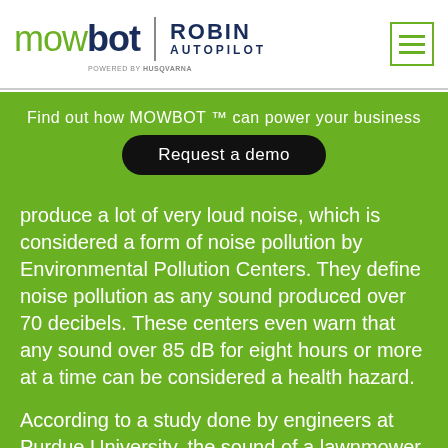[Figure (logo): Mowbot logo with Robin Autopilot branding and Husqvarna powered by text]
Find out how MOWBOT ™ can power your business
Request a demo
produce a lot of very loud noise, which is considered a form of noise pollution by Environmental Pollution Centers. They define noise pollution as any sound produced over 70 decibels. These centers even warn that any sound over 85 dB for eight hours or more at a time can be considered a health hazard.
According to a study done by engineers at Purdue University, the sound of a lawnmower registers at 96 dB, well above the minimum